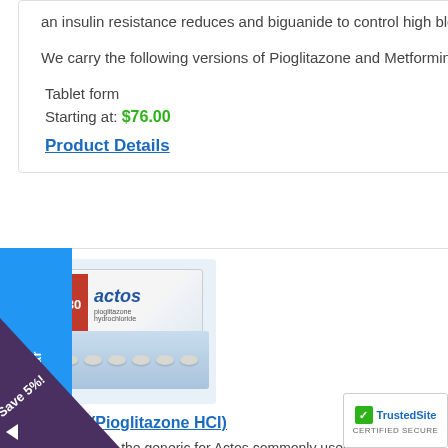an insulin resistance reduces and biguanide to control high blood sugar.
We carry the following versions of Pioglitazone and Metformin HCI / Generic ACTOplus met
Tablet form
Starting at: $76.00
Product Details
[Figure (photo): Photo of Actos (Pioglitazone HCI) medication box and blister pack of pills]
Actos (Pioglitazone HCI)
Pioglitazone the generic for Actos commonly used in treatment of diabetes mellitus type 2, als...